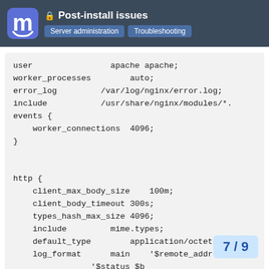Post-install issues | Server administration | Troubleshooting
user                apache apache;
worker_processes        auto;
error_log         /var/log/nginx/error.log;
include           /usr/share/nginx/modules/*.
events {
    worker_connections  4096;
}


http {
    client_max_body_size    100m;
    client_body_timeout 300s;
    types_hash_max_size 4096;
    include         mime.types;
    default_type        application/octet-stre
    log_format      main    '$remote_addr - $re
                '$status $b
                '"$http_use